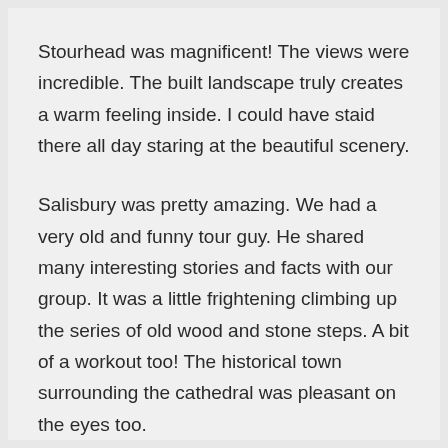Stourhead was magnificent! The views were incredible. The built landscape truly creates a warm feeling inside. I could have staid there all day staring at the beautiful scenery.
Salisbury was pretty amazing. We had a very old and funny tour guy. He shared many interesting stories and facts with our group. It was a little frightening climbing up the series of old wood and stone steps. A bit of a workout too! The historical town surrounding the cathedral was pleasant on the eyes too.